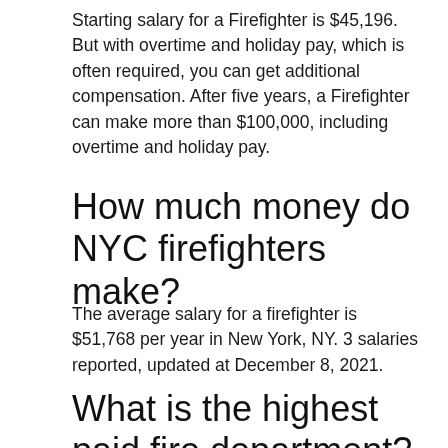Starting salary for a Firefighter is $45,196. But with overtime and holiday pay, which is often required, you can get additional compensation. After five years, a Firefighter can make more than $100,000, including overtime and holiday pay.
How much money do NYC firefighters make?
The average salary for a firefighter is $51,768 per year in New York, NY. 3 salaries reported, updated at December 8, 2021.
What is the highest paid fire department?